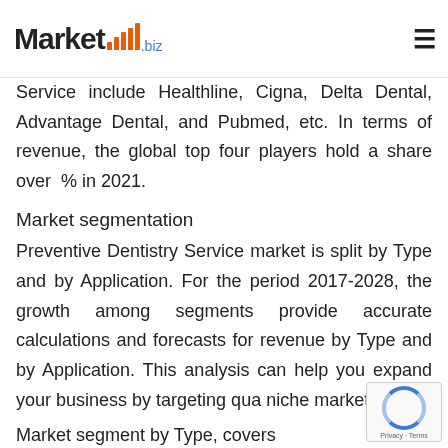Market.biz
Service include Healthline, Cigna, Delta Dental, Advantage Dental, and Pubmed, etc. In terms of revenue, the global top four players hold a share over  % in 2021.
Market segmentation
Preventive Dentistry Service market is split by Type and by Application. For the period 2017-2028, the growth among segments provide accurate calculations and forecasts for revenue by Type and by Application. This analysis can help you expand your business by targeting qua niche markets.
Market segment by Type, covers